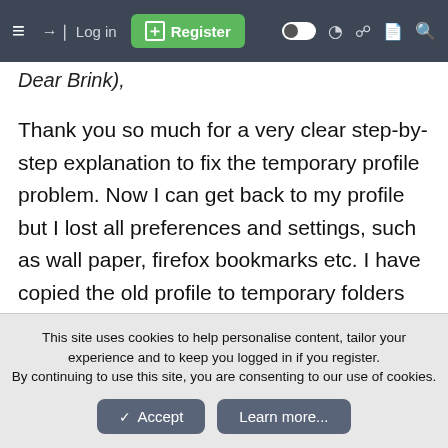≡  →] Log in  [+] Register  (toggle) (moon) (doc) (search)
Dear Brink),
Thank you so much for a very clear step-by-step explanation to fix the temporary profile problem. Now I can get back to my profile but I lost all preferences and settings, such as wall paper, firefox bookmarks etc. I have copied the old profile to temporary folders before deleting it. Is there any way I can recover the old settings? Should I just copy back the temporary files back to my user profile directory (i.e. C:\Users\(user-name) folder)?
This site uses cookies to help personalise content, tailor your experience and to keep you logged in if you register.
By continuing to use this site, you are consenting to our use of cookies.